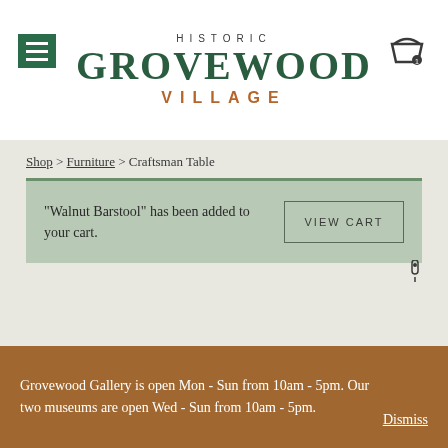HISTORIC GROVEWOOD VILLAGE
Shop > Furniture > Craftsman Table
"Walnut Barstool" has been added to your cart.
VIEW CART
Grovewood Gallery is open Mon - Sun from 10am - 5pm. Our two museums are open Wed - Sun from 10am - 5pm. Dismiss